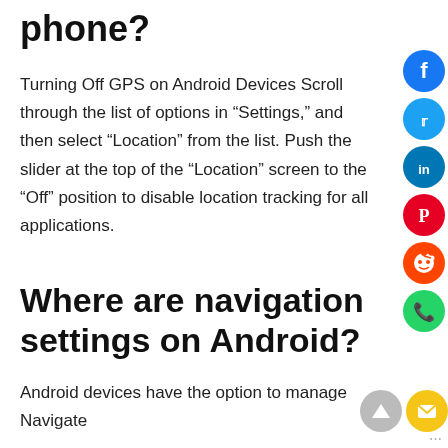phone?
Turning Off GPS on Android Devices Scroll through the list of options in “Settings,” and then select “Location” from the list. Push the slider at the top of the “Location” screen to the “Off” position to disable location tracking for all applications.
Where are navigation settings on Android?
Android devices have the option to manage Navigate